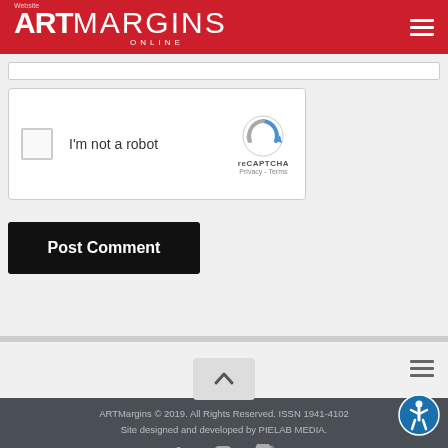ART MARGINS ONLINE
[Figure (screenshot): reCAPTCHA widget with checkbox labeled 'I'm not a robot' and reCAPTCHA logo with Privacy - Terms links]
Post Comment
ARTMargins © 2019. All Rights Reserved. ISSN 1941-4102
Site designed and developed by PIELAB MEDIA.